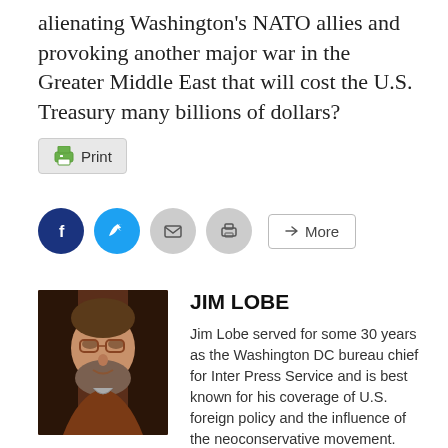alienating Washington's NATO allies and provoking another major war in the Greater Middle East that will cost the U.S. Treasury many billions of dollars?
[Figure (other): Print button with printer icon]
[Figure (other): Social sharing buttons: Facebook (blue circle with f), Twitter (blue circle with bird), Email (grey circle with envelope), Print (grey circle with printer), and a More button]
[Figure (photo): Author headshot of Jim Lobe, a middle-aged man with glasses and a beard, wearing a brown jacket]
JIM LOBE
Jim Lobe served for some 30 years as the Washington DC bureau chief for Inter Press Service and is best known for his coverage of U.S. foreign policy and the influence of the neoconservative movement.